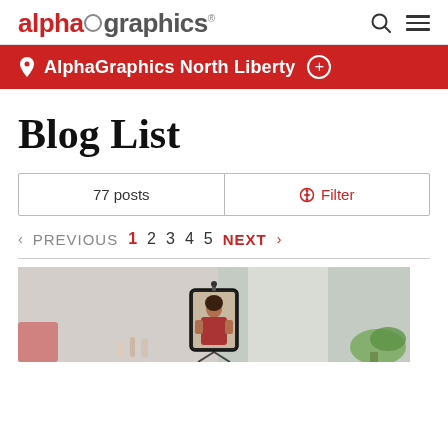alphagraphics
AlphaGraphics North Liberty ⊕
Blog List
77 posts   Filter
< PREVIOUS  1  2  3  4  5  NEXT >
[Figure (photo): Woman recording a video of herself on a smartphone mounted on a tripod, with makeup and household items visible in the background.]